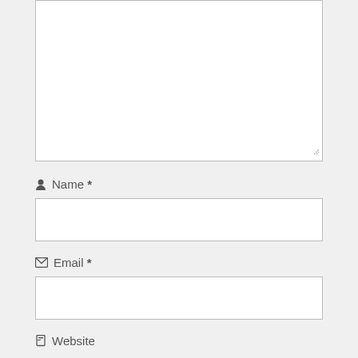[Figure (screenshot): A large empty textarea input box with a resize handle in the bottom-right corner]
Name *
[Figure (screenshot): An empty single-line text input box for Name]
Email *
[Figure (screenshot): An empty single-line text input box for Email]
Website